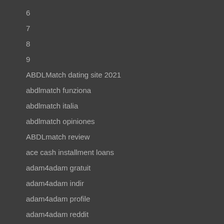6
7
8
9
ABDLMatch dating site 2021
abdlmatch funziona
abdlmatch italia
abdlmatch opiniones
ABDLmatch review
ace cash installment loans
adam4adam gratuit
adam4adam indir
adam4adam profile
adam4adam reddit
adam4adam web